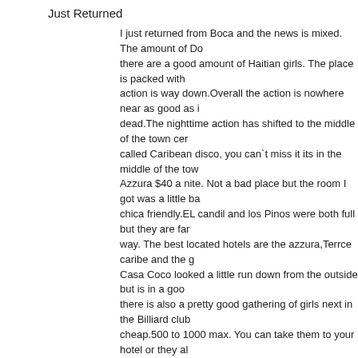Just Returned
I just returned from Boca and the news is mixed. The amount of Do there are a good amount of Haitian girls. The place is packed with action is way down.Overall the action is nowhere near as good as i dead.The nighttime action has shifted to the middle of the town cer called Caribean disco, you can`t miss it its in the middle of the tow Azzura $40 a nite. Not a bad place but the room I got was a little ba chica friendly.EL candil and los Pinos were both full but they are far way. The best located hotels are the azzura,Terrce caribe and the Casa Coco looked a little run down from the outside but is in a goo there is also a pretty good gathering of girls next in the Billiard club cheap.500 to 1000 max. You can take them to your hotel or they al right there forgot the name for about 200 peseso. But the place lok without an id card I use the Cahella 400 pesos but clean.This is ac woild be worth syaying there.
Scruffman
Cotinue
The best girl I had did not have her her Id used cachella. Chica cos probaly. A really foxy chick will always ask for 1500.Hatians way ch the norm .The girls in front the billards are cheap. Exchange rate is the girls did not want their pictures taken,they did not want their pic